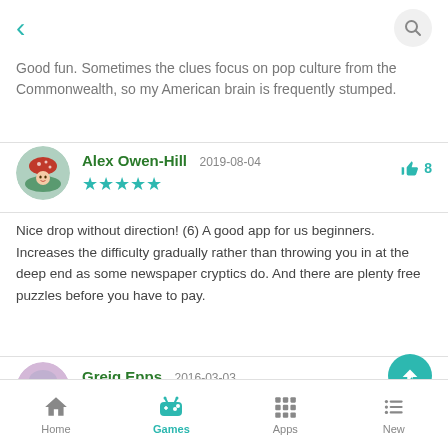< [back] [search]
Good fun. Sometimes the clues focus on pop culture from the Commonwealth, so my American brain is frequently stumped.
Alex Owen-Hill  2019-08-04  ★★★★★  👍 8
Nice drop without direction! (6) A good app for us beginners. Increases the difficulty gradually rather than throwing you in at the deep end as some newspaper cryptics do. And there are plenty free puzzles before you have to pay.
Greig Epps  2016-03-03  ★★★★☆  👍 8
Home  Games  Apps  New